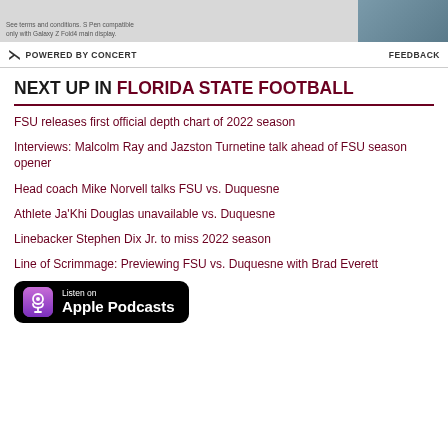[Figure (photo): Advertisement banner with small text about terms and conditions, S Pen compatible only with Galaxy Z Fold4 main display, with a phone product image on the right]
⊏ POWERED BY CONCERT    FEEDBACK
NEXT UP IN FLORIDA STATE FOOTBALL
FSU releases first official depth chart of 2022 season
Interviews: Malcolm Ray and Jazston Turnetine talk ahead of FSU season opener
Head coach Mike Norvell talks FSU vs. Duquesne
Athlete Ja'Khi Douglas unavailable vs. Duquesne
Linebacker Stephen Dix Jr. to miss 2022 season
Line of Scrimmage: Previewing FSU vs. Duquesne with Brad Everett
[Figure (logo): Listen on Apple Podcasts badge, black rounded rectangle with podcast icon and white text]